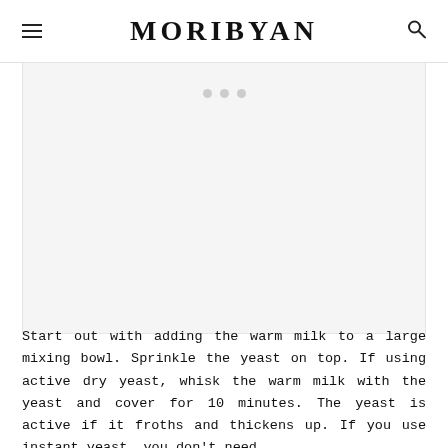MORIBYAN
[Figure (photo): Image placeholder with three gray dots indicating a loading or placeholder image area with light gray background]
Start out with adding the warm milk to a large mixing bowl. Sprinkle the yeast on top. If using active dry yeast, whisk the warm milk with the yeast and cover for 10 minutes. The yeast is active if it froths and thickens up. If you use instant yeast, you don't need